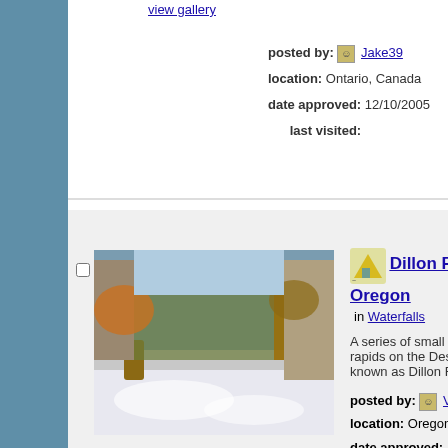view gallery
posted by: Jake39
location: Ontario, Canada
date approved: 12/10/2005   last visited:
[Figure (photo): Dillon Falls Oregon waterfall rapids photo]
view gallery
Dillon Falls, Oregon
in Waterfalls
A series of small falls and rapids on the Deschut known as Dillon Falls.
posted by: Volcanoguy
location: Oregon
date approved: 12/10/2005   last visited:
[Figure (photo): Benham Falls Oregon waterfall photos winter and summer]
view gallery
Benham Falls, Oregon
in Waterfalls
A series of small falls and rapids on the Deschut known as Benham Falls.
posted by: Volcanoguy
location: Oregon
date approved: 12/9/2005   last visited: